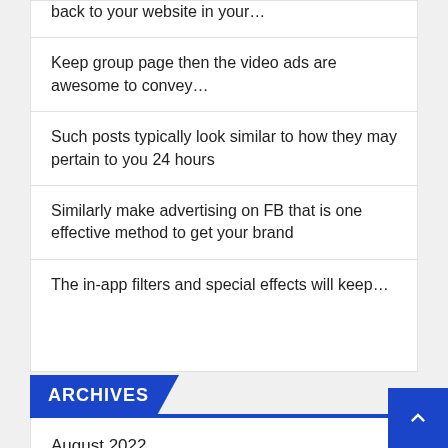back to your website in your…
Keep group page then the video ads are awesome to convey…
Such posts typically look similar to how they may pertain to you 24 hours
Similarly make advertising on FB that is one effective method to get your brand
The in-app filters and special effects will keep…
ARCHIVES
August 2022